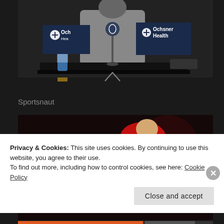[Figure (photo): A person seated at a press conference table with Ochsner Health sponsor banners visible on both sides and an NFL microphone on the table.]
Sportsnaut
[Figure (photo): Baseball player Ohtani #17 in a white Angels uniform in a pitching pose, wearing a red cap.]
Privacy & Cookies: This site uses cookies. By continuing to use this website, you agree to their use.
To find out more, including how to control cookies, see here: Cookie Policy
Close and accept